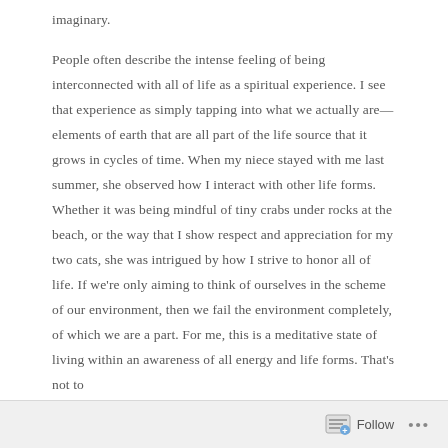imaginary.
People often describe the intense feeling of being interconnected with all of life as a spiritual experience. I see that experience as simply tapping into what we actually are—elements of earth that are all part of the life source that it grows in cycles of time. When my niece stayed with me last summer, she observed how I interact with other life forms. Whether it was being mindful of tiny crabs under rocks at the beach, or the way that I show respect and appreciation for my two cats, she was intrigued by how I strive to honor all of life. If we're only aiming to think of ourselves in the scheme of our environment, then we fail the environment completely, of which we are a part. For me, this is a meditative state of living within an awareness of all energy and life forms. That's not to
Follow ...